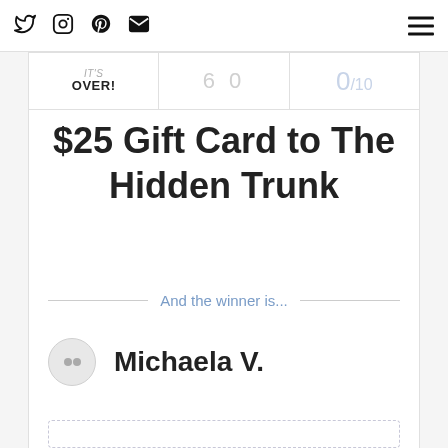Social media icons: Twitter, Instagram, Pinterest, Email | Hamburger menu
IT'S OVER! | 60 | 0/10
$25 Gift Card to The Hidden Trunk
And the winner is...
Michaela V.